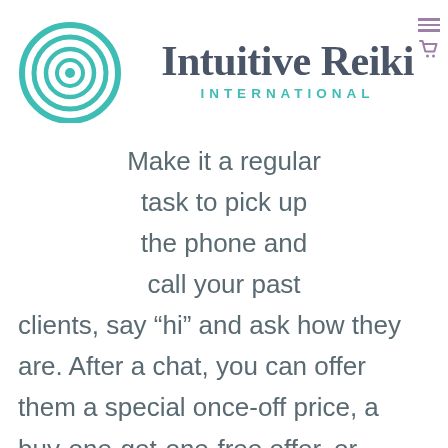[Figure (logo): Intuitive Reiki International logo with teal concentric circles/target symbol on the left, large serif brand name 'Intuitive Reiki' and 'INTERNATIONAL' in teal beneath]
Make it a regular task to pick up the phone and call your past clients, say “hi” and ask how they are. After a chat, you can offer them a special once-off price, a buy-one-get-one-free offer, or introduce them to